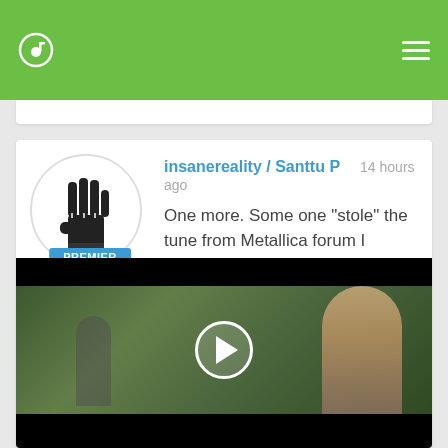insanereality app navigation bar
insanereality / Santtu P   14 hours ago

One more. Some one "stole" the tune from Metallica forum I posted it on(image that) and made this video. all good.
[Figure (screenshot): Video thumbnail showing a person with blonde hair in an outdoor scene, with a play button overlay. Black letterbox bars top and bottom.]